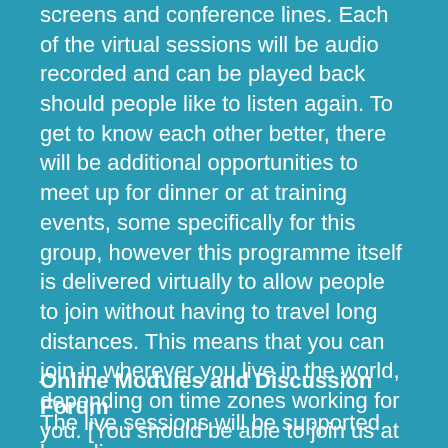screens and conference lines. Each of the virtual sessions will be audio recorded and can be played back should people like to listen again. To get to know each other better, there will be additional opportunities to meet up for dinner or at training events, some specifically for this group, however this programme itself is delivered virtually to allow people to join without having to travel long distances. This means that you can join in wherever you live in the world, depending on time zones working for you. [You should be able to join us at lunchtime GMT for half an hour and in the evening GMT for an hour once a month. Check that this would work with your timezone!]
Online Modules and Discussion Forum
The live sessions will be supported by online